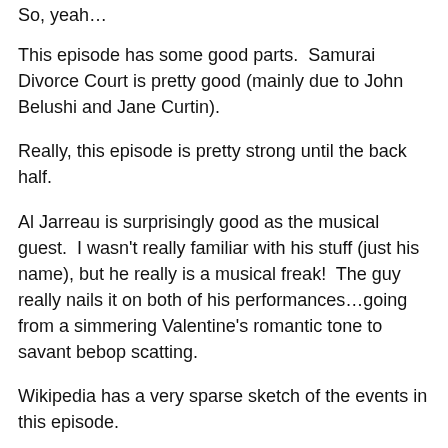So, yeah…
This episode has some good parts.  Samurai Divorce Court is pretty good (mainly due to John Belushi and Jane Curtin).
Really, this episode is pretty strong until the back half.
Al Jarreau is surprisingly good as the musical guest.  I wasn't really familiar with his stuff (just his name), but he really is a musical freak!  The guy really nails it on both of his performances…going from a simmering Valentine's romantic tone to savant bebop scatting.
Wikipedia has a very sparse sketch of the events in this episode.
Some, admittedly, aren't really worth mentioning.